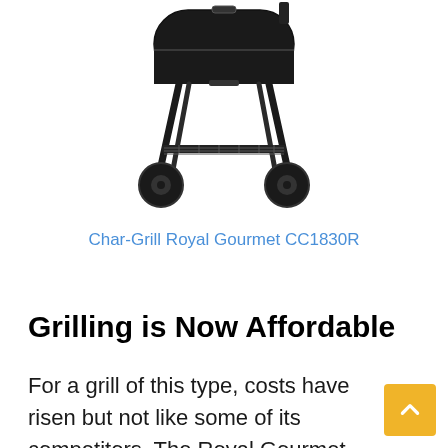[Figure (photo): Product photo of a black charcoal grill (Royal Gourmet CC1830R) with two wheels, a lower shelf/rack, and a cylindrical barrel-style cooking chamber on a stand with four legs.]
Char-Grill Royal Gourmet CC1830R
Grilling is Now Affordable
For a grill of this type, costs have risen but not like some of its competitors. The Royal Gourmet CC1830R is one of the most affordable charcoal grills on the